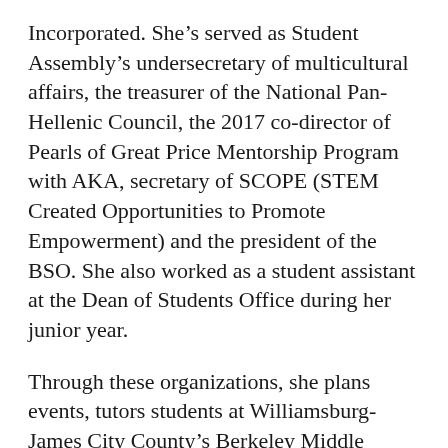Incorporated. She's served as Student Assembly's undersecretary of multicultural affairs, the treasurer of the National Pan-Hellenic Council, the 2017 co-director of Pearls of Great Price Mentorship Program with AKA, secretary of SCOPE (STEM Created Opportunities to Promote Empowerment) and the president of the BSO. She also worked as a student assistant at the Dean of Students Office during her junior year.
Through these organizations, she plans events, tutors students at Williamsburg-James City County's Berkeley Middle School and runs social media for the Center for Student Diversity.
“I would start my day off with work for the CSD, making sure that advertisements and [social media] posts are along the top so that we’d already have the plan…